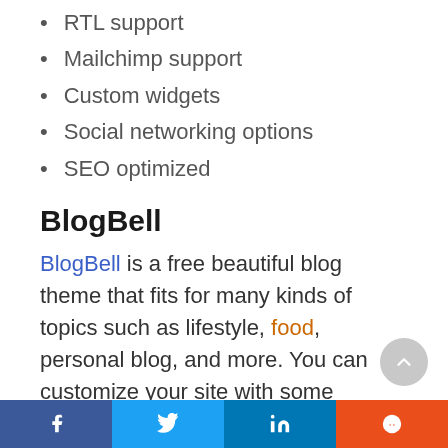RTL support
Mailchimp support
Custom widgets
Social networking options
SEO optimized
BlogBell
BlogBell is a free beautiful blog theme that fits for many kinds of topics such as lifestyle, food, personal blog, and more. You can customize your site with some amazing features such as custom headers, two-column layout, full-width layout, and tons of
f  twitter  in  reddit